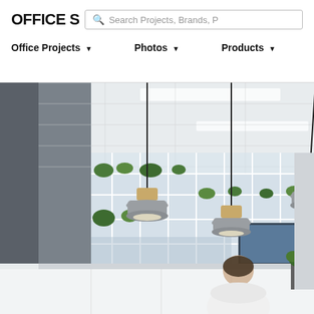OFFICE S
Search Projects, Brands, P
Office Projects ▼   Photos ▼   Products ▼
Join  Sign in
[Figure (photo): Interior office photo showing pendant lamps with wooden tops and grey shades hanging from black cords over a reception desk area. Behind is a glass partition wall with green plants. A person with dark hair sits at the desk in the foreground. The ceiling has recessed LED strip lighting.]